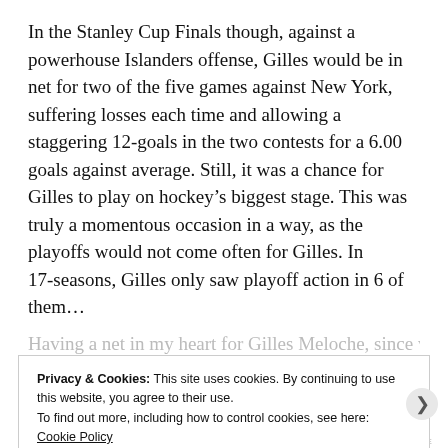In the Stanley Cup Finals though, against a powerhouse Islanders offense, Gilles would be in net for two of the five games against New York, suffering losses each time and allowing a staggering 12-goals in the two contests for a 6.00 goals against average. Still, it was a chance for Gilles to play on hockey's biggest stage. This was truly a momentous occasion in a way, as the playoffs would not come often for Gilles. In 17-seasons, Gilles only saw playoff action in 6 of them...
Having a net in my heart for Gilles Meloche, since we...
Privacy & Cookies: This site uses cookies. By continuing to use this website, you agree to their use.
To find out more, including how to control cookies, see here:
Cookie Policy